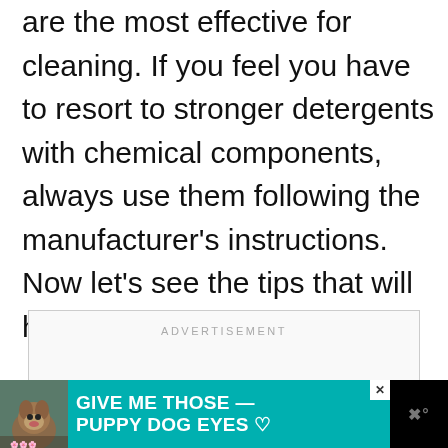are the most effective for cleaning. If you feel you have to resort to stronger detergents with chemical components, always use them following the manufacturer's instructions. Now let's see the tips that will help you.
[Figure (other): Advertisement placeholder box with the label ADVERTISEMENT centered at the top]
[Figure (other): Bottom banner advertisement with teal background, dog image, text reading GIVE ME THOSE PUPPY DOG EYES with heart icon, close button, and logo on black background]